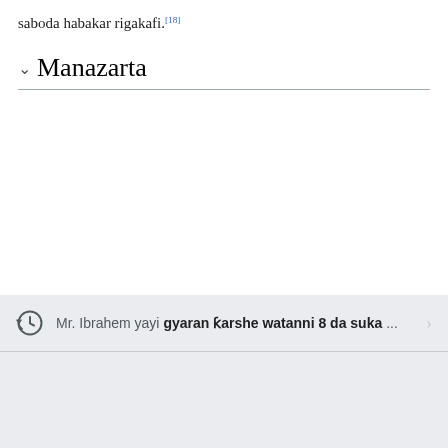saboda habakar rigakafi.[18]
Manazarta
Mr. Ibrahem yayi gyaran ƙarshe watanni 8 da suka ...